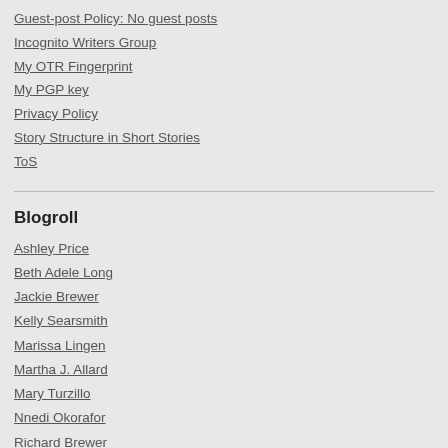Guest-post Policy: No guest posts
Incognito Writers Group
My OTR Fingerprint
My PGP key
Privacy Policy
Story Structure in Short Stories
ToS
Blogroll
Ashley Price
Beth Adele Long
Jackie Brewer
Kelly Searsmith
Marissa Lingen
Martha J. Allard
Mary Turzillo
Nnedi Okorafor
Richard Brewer